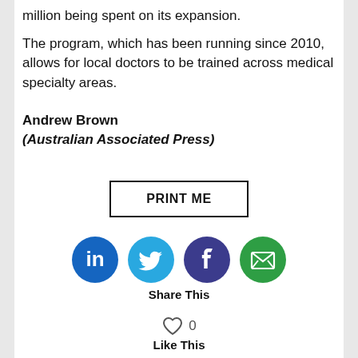million being spent on its expansion.
The program, which has been running since 2010, allows for local doctors to be trained across medical specialty areas.
Andrew Brown
(Australian Associated Press)
[Figure (other): PRINT ME button — rectangular bordered button with bold text]
[Figure (other): Social share icons: LinkedIn (blue circle with 'in'), Twitter (light blue circle with bird), Facebook (dark blue circle with 'f'), Email (green circle with envelope). Below: 'Share This' label.]
[Figure (other): Heart icon with count '0' and 'Like This' label below]